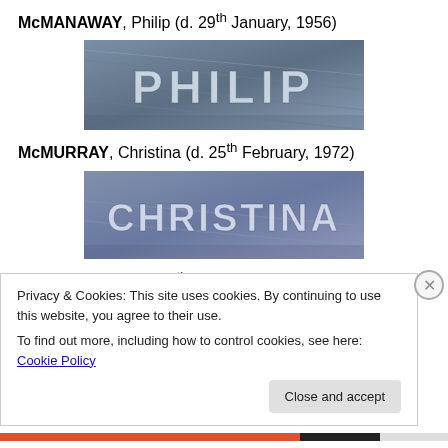McMANAWAY, Philip (d. 29th January, 1956)
[Figure (photo): Gravestone photo showing the engraved name PHILIP]
McMURRAY, Christina (d. 25th February, 1972)
[Figure (photo): Gravestone photo showing the engraved name CHRISTINA]
McMURRAY, ... (d. 26th November, 1969)
Privacy & Cookies: This site uses cookies. By continuing to use this website, you agree to their use.
To find out more, including how to control cookies, see here: Cookie Policy